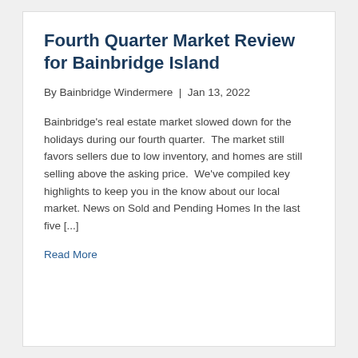Fourth Quarter Market Review for Bainbridge Island
By Bainbridge Windermere  |  Jan 13, 2022
Bainbridge's real estate market slowed down for the holidays during our fourth quarter.  The market still favors sellers due to low inventory, and homes are still selling above the asking price.  We've compiled key highlights to keep you in the know about our local market. News on Sold and Pending Homes In the last five [...]
Read More